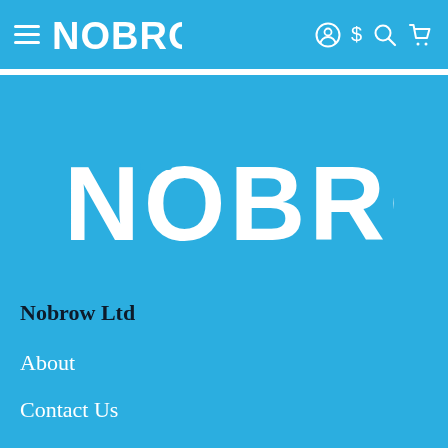NOBROW navigation bar with hamburger menu, logo, account, dollar, search, and cart icons
[Figure (logo): Large NOBROW logo in white on blue background]
Nobrow Ltd
About
Contact Us
Terms & Conditions
Privacy Policy